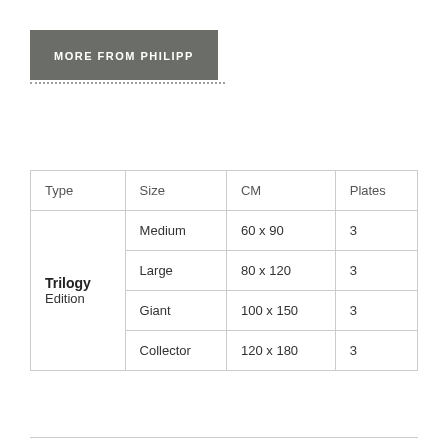MORE FROM PHILIPP
| Type | Size | CM | Plates |
| --- | --- | --- | --- |
| Trilogy Edition | Medium | 60 x 90 | 3 |
| Trilogy Edition | Large | 80 x 120 | 3 |
| Trilogy Edition | Giant | 100 x 150 | 3 |
| Trilogy Edition | Collector | 120 x 180 | 3 |